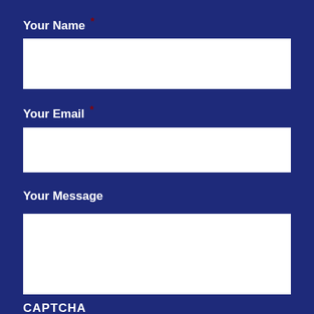Your Name *
[Figure (other): Empty text input field for Your Name]
Your Email *
[Figure (other): Empty text input field for Your Email]
Your Message
[Figure (other): Empty textarea input field for Your Message]
CAPTCHA